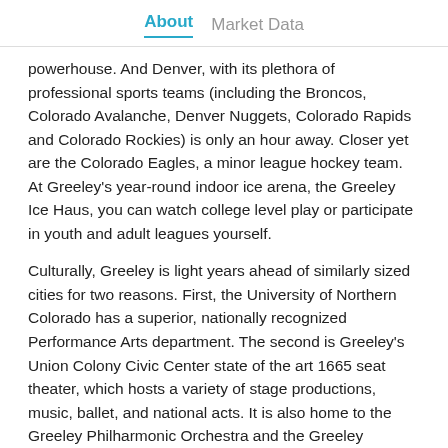About   Market Data
powerhouse. And Denver, with its plethora of professional sports teams (including the Broncos, Colorado Avalanche, Denver Nuggets, Colorado Rapids and Colorado Rockies) is only an hour away. Closer yet are the Colorado Eagles, a minor league hockey team.  At Greeley's year-round indoor ice arena, the Greeley Ice Haus, you can watch college level play or participate in youth and adult leagues yourself.
Culturally, Greeley is light years ahead of similarly sized cities for two reasons. First, the University of Northern Colorado has a superior, nationally recognized Performance Arts department. The second is Greeley's Union Colony Civic Center state of the art 1665 seat theater, which hosts a variety of stage productions, music, ballet, and national acts. It is also home to the Greeley Philharmonic Orchestra and the Greeley Chorale.  The Greeley Philharmonic is one of the oldest orchestras in the west having celebrated its 104th anniversary in 2015.